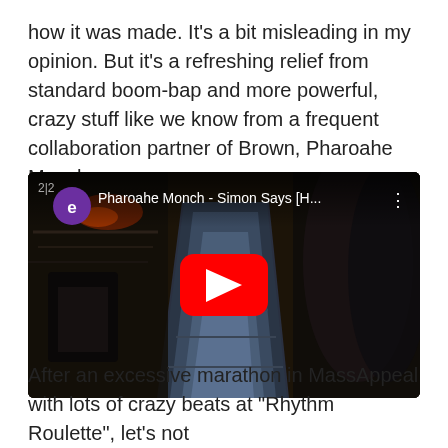how it was made. It's a bit misleading in my opinion. But it's a refreshing relief from standard boom-bap and more powerful, crazy stuff like we know from a frequent collaboration partner of Brown, Pharoahe Monch:
[Figure (screenshot): YouTube video embed showing Pharoahe Monch - Simon Says [H...] with a dark industrial stairway background, YouTube play button in center, channel icon (purple circle with 'e'), and video title in the top bar.]
After an excessive marathon in MassAppeal with lots of crazy beats at "Rhythm Roulette", let's not